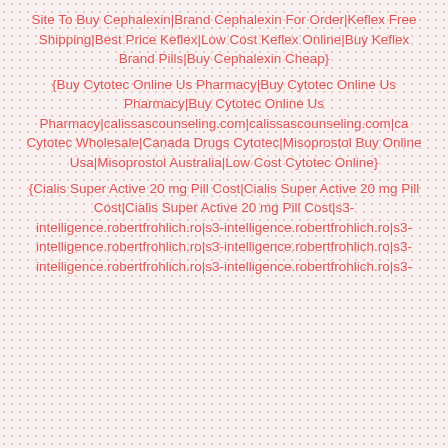Site To Buy Cephalexin|Brand Cephalexin For Order|Keflex Free Shipping|Best Price Keflex|Low Cost Keflex Online|Buy Keflex Brand Pills|Buy Cephalexin Cheap}
{Buy Cytotec Online Us Pharmacy|Buy Cytotec Online Us Pharmacy|Buy Cytotec Online Us Pharmacy|calissascounseling.com|calissascounseling.com|ca Cytotec Wholesale|Canada Drugs Cytotec|Misoprostol Buy Online Usa|Misoprostol Australia|Low Cost Cytotec Online}
{Cialis Super Active 20 mg Pill Cost|Cialis Super Active 20 mg Pill Cost|Cialis Super Active 20 mg Pill Cost|s3-intelligence.robertfrohlich.ro|s3-intelligence.robertfrohlich.ro|s3-intelligence.robertfrohlich.ro|s3-intelligence.robertfrohlich.ro|s3-intelligence.robertfrohlich.ro|s3-intelligence.robertfrohlich.ro|s3-intelligence.robertfrohlich.ro|s3-